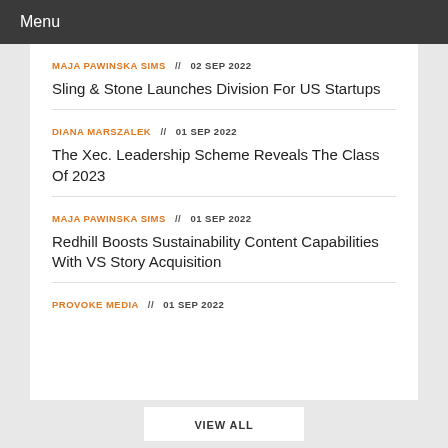Menu
MAJA PAWINSKA SIMS // 02 SEP 2022
Sling & Stone Launches Division For US Startups
DIANA MARSZALEK // 01 SEP 2022
The Xec. Leadership Scheme Reveals The Class Of 2023
MAJA PAWINSKA SIMS // 01 SEP 2022
Redhill Boosts Sustainability Content Capabilities With VS Story Acquisition
PROVOKE MEDIA // 01 SEP 2022
VIEW ALL